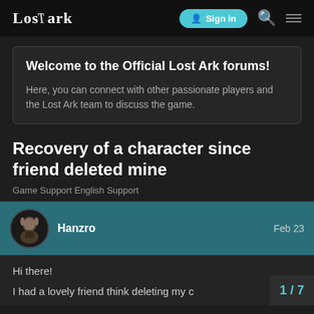LOSTARK | Sign in
Welcome to the Official Lost Ark forums!
Here, you can connect with other passionate players and the Lost Ark team to discuss the game.
Recovery of a character since friend deleted mine
Game Support English Support
Hanzro Feb 23
Hi there!
I had a lovely friend think deleting my c...
1 / 7